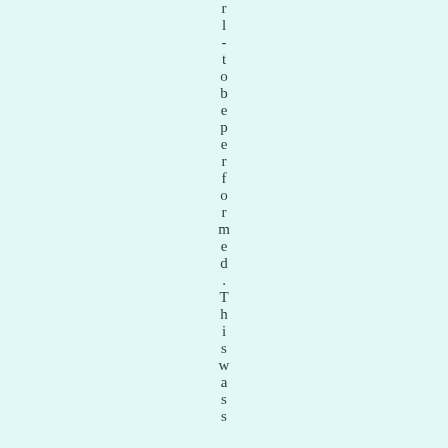l - to be performed. This was s